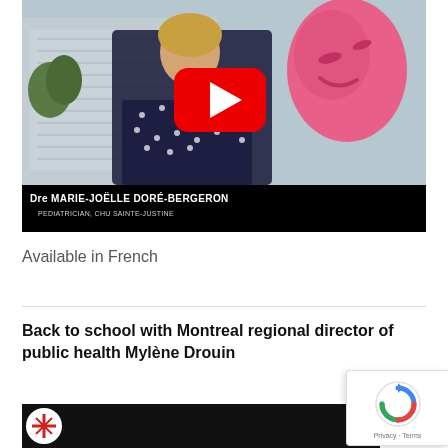[Figure (screenshot): YouTube video thumbnail showing Dre Marie-Joëlle Doré-Bergeron, Pediatrician at CHU Sainte-Justine, standing outdoors in front of a building with a pink sculpture. A red YouTube play button is overlaid in the center.]
Available in French
Back to school with Montreal regional director of public health Mylène Drouin
[Figure (screenshot): Partial view of another YouTube video thumbnail with a logo visible at bottom of page.]
[Figure (logo): Google reCAPTCHA badge with Privacy and Terms links.]